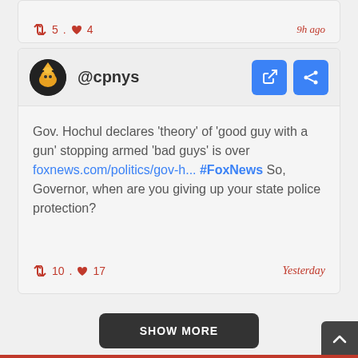↺ 5 . ♥ 4   9h ago
@cpnys
Gov. Hochul declares 'theory' of 'good guy with a gun' stopping armed 'bad guys' is over foxnews.com/politics/gov-h... #FoxNews So, Governor, when are you giving up your state police protection?
↺ 10 . ♥ 17   Yesterday
SHOW MORE